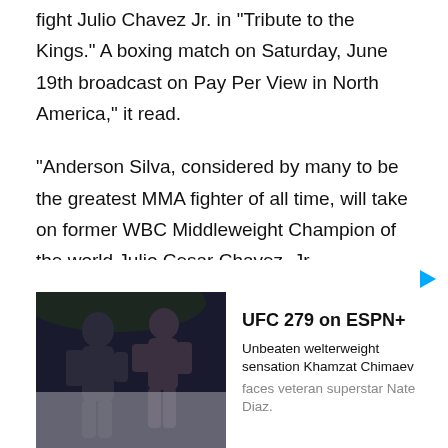fight Julio Chavez Jr. in "Tribute to the Kings." A boxing match on Saturday, June 19th broadcast on Pay Per View in North America," it read.
"Anderson Silva, considered by many to be the greatest MMA fighter of all time, will take on former WBC Middleweight Champion of the world Julio Cesar Chavez, Jr.
[Figure (photo): Advertisement banner featuring two fighters facing each other (UFC 279 on ESPN+). Text reads: UFC 279 on ESPN+, Unbeaten welterweight sensation Khamzat Chimaev faces veteran superstar Nate Diaz.]